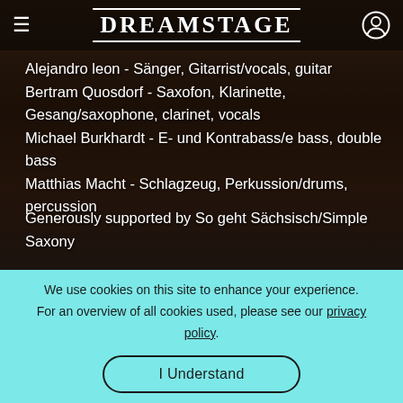[Figure (screenshot): Dreamstage website header with logo, hamburger menu, and user icon over a dark concert/stage background image]
Alejandro leon - Sänger, Gitarrist/vocals, guitar
Bertram Quosdorf - Saxofon, Klarinette, Gesang/saxophone, clarinet, vocals
Michael Burkhardt - E- und Kontrabass/e bass, double bass
Matthias Macht - Schlagzeug, Perkussion/drums, percussion
Generously supported by So geht Sächsisch/Simple Saxony
We use cookies on this site to enhance your experience. For an overview of all cookies used, please see our privacy policy.
I Understand